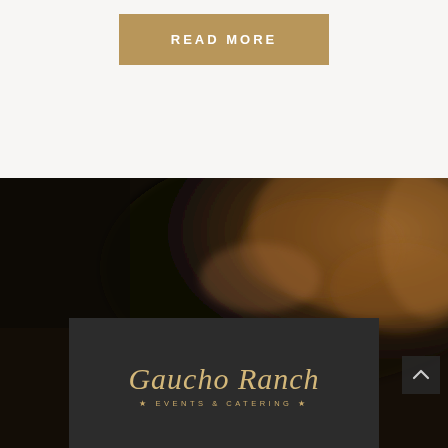READ MORE
[Figure (photo): Dark background blurred photo of food/meat dish, used as hero section background for Gaucho Ranch Events & Catering website]
Gaucho Ranch
★ EVENTS & CATERING ★